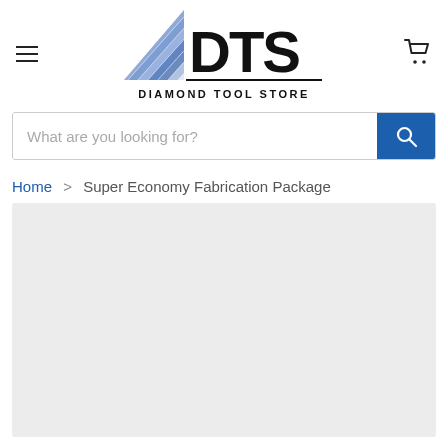[Figure (logo): DTS Diamond Tool Store logo with diagonal stripe graphic and bold DTS text]
What are you looking for?
Home > Super Economy Fabrication Package
[Figure (photo): Light gray product image placeholder area]